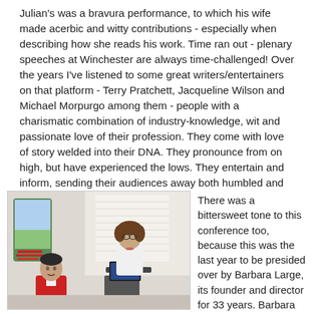Julian's was a bravura performance, to which his wife made acerbic and witty contributions - especially when describing how she reads his work. Time ran out - plenary speeches at Winchester are always time-challenged! Over the years I've listened to some great writers/entertainers on that platform - Terry Pratchett, Jacqueline Wilson and Michael Morpurgo among them - people with a charismatic combination of industry-knowledge, wit and passionate love of their profession. They come with love of story welded into their DNA. They pronounce from on high, but have experienced the lows. They entertain and inform, sending their audiences away both humbled and elevated.
[Figure (photo): Photo of two people at a conference: a man in a red jacket on the left and a woman in white speaking at a podium on the right, with a countryside poster banner visible behind them.]
There was a bittersweet tone to this conference too, because this was the last year to be presided over by Barbara Large, its founder and director for 33 years. Barbara